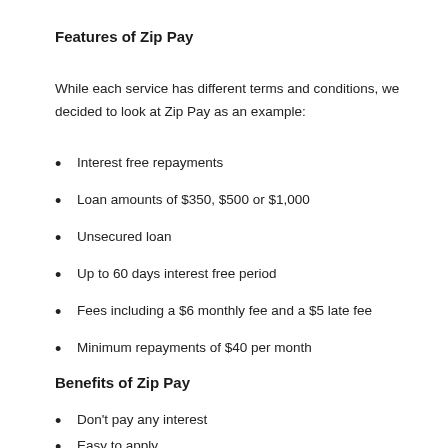Features of Zip Pay
While each service has different terms and conditions, we decided to look at Zip Pay as an example:
Interest free repayments
Loan amounts of $350, $500 or $1,000
Unsecured loan
Up to 60 days interest free period
Fees including a $6 monthly fee and a $5 late fee
Minimum repayments of $40 per month
Benefits of Zip Pay
Don't pay any interest
Easy to apply